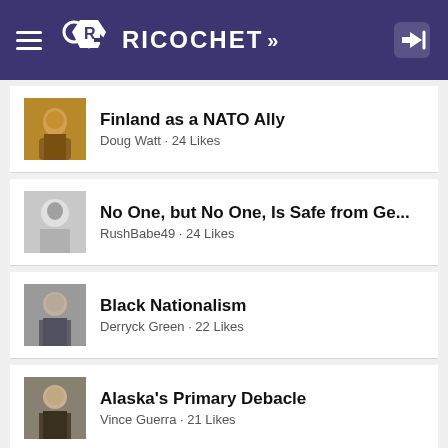RICOCHET
Finland as a NATO Ally
Doug Watt · 24 Likes
No One, but No One, Is Safe from Ge...
RushBabe49 · 24 Likes
Black Nationalism
Derryck Green · 22 Likes
Alaska's Primary Debacle
Vince Guerra · 21 Likes
Quote of the Day: Dr. Larry Arnn, Pr...
RushBabe49 · 20 Likes